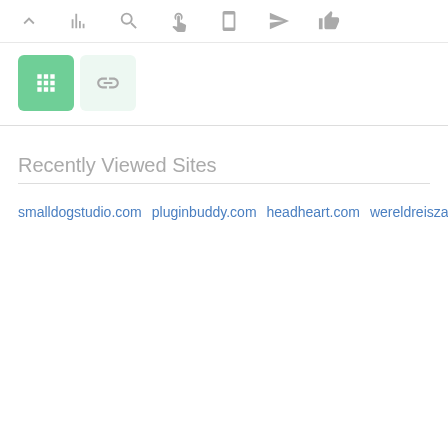[Figure (screenshot): Browser toolbar with icons: chevron up, bar chart, search/magnifier, hand cursor, mobile phone, send/paper plane, thumbs up]
[Figure (screenshot): Two icon buttons: active green grid/hashtag button and inactive light green chain/link button]
Recently Viewed Sites
smalldogstudio.com  pluginbuddy.com  headheart.com  wereldreiszaanstreek.nl  closeouts-liquidators.com  pureperio.com  willa-arka.pl  plandevuelo.cl  sellerie-patenotte.com  blank.com  godhan.in  corefocus.co.uk  aavar.org  kirovcity.org  raritynews.com  stadiumrimini.net  phantasm.com  cabolimousine.com  ajnarahomes.co.in  thepotato.ie